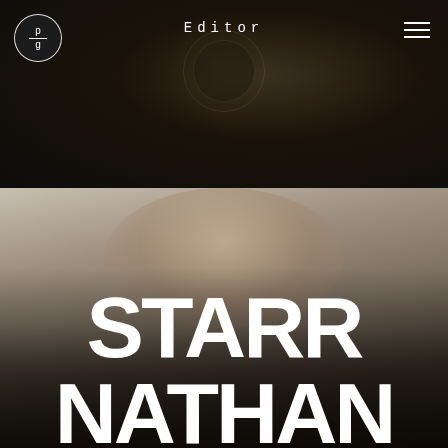Editor
[Figure (photo): Portrait photo of Starr Nathan smiling, wearing a black cap and black outfit with chain necklace, overlaid with large bold white text reading STARR NATHAN]
STARR NATHAN